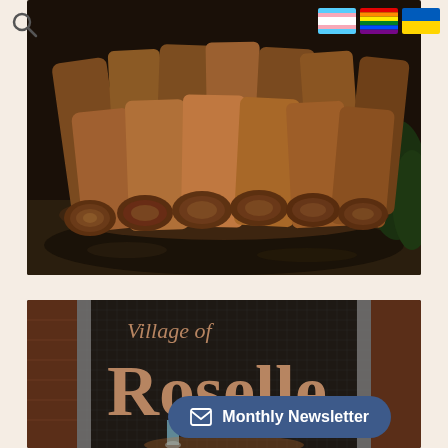[Figure (photo): Pile of split firewood/logs stacked outdoors on dark ground with green foliage visible at right edge]
[Figure (photo): Illuminated Village of Roselle sign — bronze letters 'Village of Roselle' on a dark mosaic tile background with water feature at night. A blue rounded-rectangle button overlay reads 'Monthly Newsletter' with an envelope icon.]